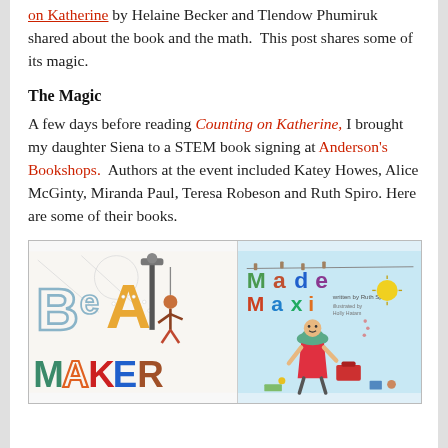on Katherine by Helaine Becker and Tlendow Phumiruk shared about the book and the math. This post shares some of its magic.
The Magic
A few days before reading Counting on Katherine, I brought my daughter Siena to a STEM book signing at Anderson's Bookshops. Authors at the event included Katey Howes, Alice McGinty, Miranda Paul, Teresa Robeson and Ruth Spiro. Here are some of their books.
[Figure (photo): Two children's book covers side by side: 'Be A Maker' on the left showing colorful letters and a child, and 'Made by Maxie' on the right by Ruth Spiro illustrated by Holly Hatam showing a child crafting.]